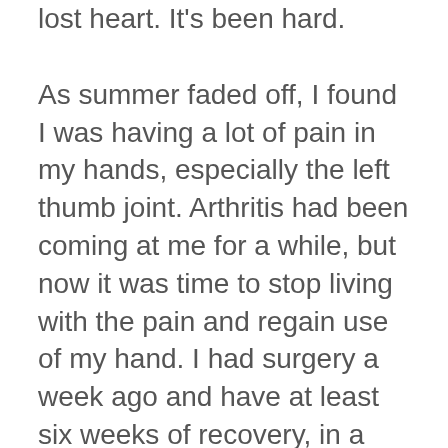lost heart. It's been hard.
As summer faded off, I found I was having a lot of pain in my hands, especially the left thumb joint. Arthritis had been coming at me for a while, but now it was time to stop living with the pain and regain use of my hand. I had surgery a week ago and have at least six weeks of recovery, in a cast, before I can start therapy.
Back to the writing conference,